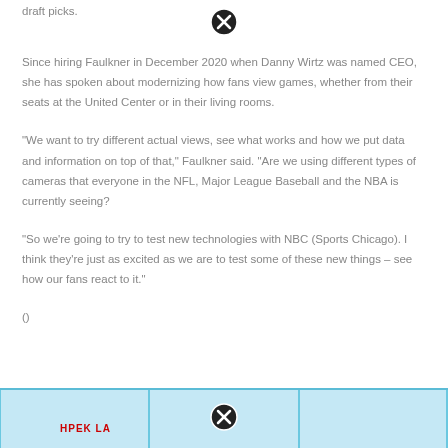draft picks.
Since hiring Faulkner in December 2020 when Danny Wirtz was named CEO, she has spoken about modernizing how fans view games, whether from their seats at the United Center or in their living rooms.
“We want to try different actual views, see what works and how we put data and information on top of that,” Faulkner said. “Are we using different types of cameras that everyone in the NFL, Major League Baseball and the NBA is currently seeing?
“So we’re going to try to test new technologies with NBC (Sports Chicago). I think they’re just as excited as we are to test some of these new things – see how our fans react to it.”
()
[Figure (screenshot): Bottom portion of a webpage showing a light blue table or grid with vertical column dividers and red text visible at lower left, partially cut off.]